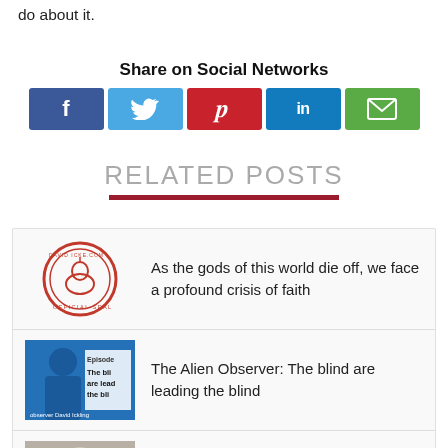do about it.
Share on Social Networks
[Figure (infographic): Social sharing buttons: Facebook (blue), Twitter (light blue), Pinterest (red), LinkedIn (teal), Email (green)]
RELATED POSTS
As the gods of this world die off, we face a profound crisis of faith
The Alien Observer: The blind are leading the blind
What was I when I was a child? I'm still that same person today